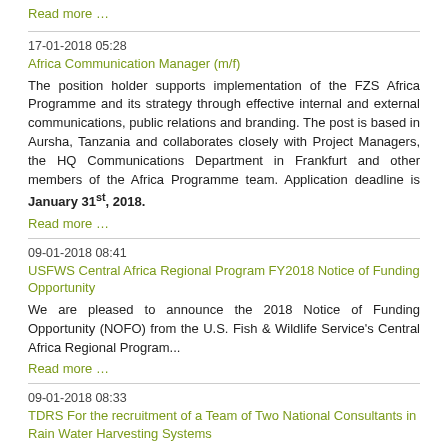Read more …
17-01-2018 05:28
Africa Communication Manager (m/f)
The position holder supports implementation of the FZS Africa Programme and its strategy through effective internal and external communications, public relations and branding. The post is based in Aursha, Tanzania and collaborates closely with Project Managers, the HQ Communications Department in Frankfurt and other members of the Africa Programme team. Application deadline is January 31st, 2018.
Read more …
09-01-2018 08:41
USFWS Central Africa Regional Program FY2018 Notice of Funding Opportunity
We are pleased to announce the 2018 Notice of Funding Opportunity (NOFO) from the U.S. Fish & Wildlife Service's Central Africa Regional Program...
Read more …
09-01-2018 08:33
TDRS For the recruitment of a Team of Two National Consultants in Rain Water Harvesting Systems
Tenders must reach the office of GWP Cameroon no later than 7:00 am local time on Monday 22nd January 2018. No submission will be received beyond the deadline. All requests for complementary information should be done by email to the following address: elouganoelle@yahoo.fr
Read more …
26-12-2017 18:56